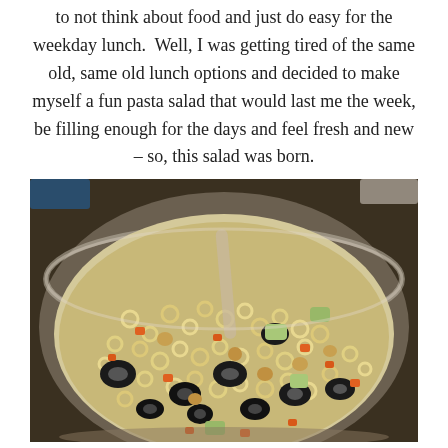to not think about food and just do easy for the weekday lunch.  Well, I was getting tired of the same old, same old lunch options and decided to make myself a fun pasta salad that would last me the week, be filling enough for the days and feel fresh and new – so, this salad was born.
[Figure (photo): A glass bowl filled with pasta salad containing ring-shaped pasta (ditalini/o-shaped), sliced black olives, diced carrots, chickpeas, and chopped celery, with a serving spoon visible in the background.]